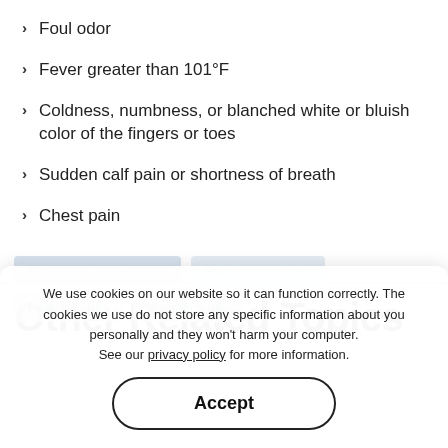Foul odor
Fever greater than 101°F
Coldness, numbness, or blanched white or bluish color of the fingers or toes
Sudden calf pain or shortness of breath
Chest pain
Other Related Topics
We use cookies on our website so it can function correctly. The cookies we use do not store any specific information about you personally and they won't harm your computer. See our privacy policy for more information.
Accept